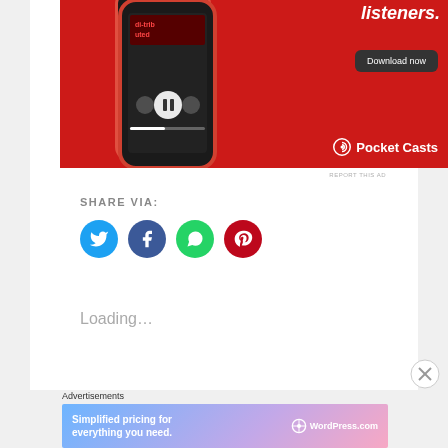[Figure (photo): Pocket Casts app advertisement showing a smartphone with podcast app interface on a red background with 'Download now' button and Pocket Casts logo]
REPORT THIS AD
SHARE VIA:
[Figure (infographic): Social sharing buttons: Twitter (blue circle), Facebook (dark blue circle), WhatsApp (green circle), Pinterest (red circle)]
Loading...
Advertisements
[Figure (photo): WordPress.com advertisement banner with gradient background (blue to pink) saying 'Simplified pricing for everything you need.' with WordPress.com logo]